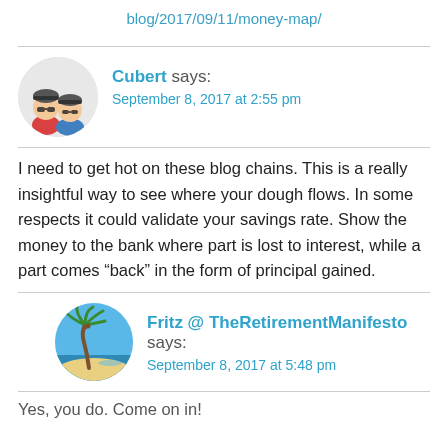blog/2017/09/11/money-map/
Cubert says:
September 8, 2017 at 2:55 pm
I need to get hot on these blog chains. This is a really insightful way to see where your dough flows. In some respects it could validate your savings rate. Show the money to the bank where part is lost to interest, while a part comes “back” in the form of principal gained.
Fritz @ TheRetirementManifesto says:
September 8, 2017 at 5:48 pm
Yes, you do. Come on in!